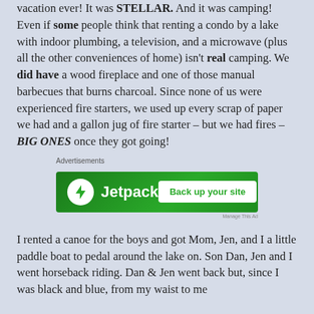vacation ever! It was STELLAR. And it was camping! Even if some people think that renting a condo by a lake with indoor plumbing, a television, and a microwave (plus all the other conveniences of home) isn't real camping. We did have a wood fireplace and one of those manual barbecues that burns charcoal. Since none of us were experienced fire starters, we used up every scrap of paper we had and a gallon jug of fire starter – but we had fires – BIG ONES once they got going!
[Figure (other): Jetpack advertisement banner: green background with Jetpack logo (lightning bolt in white circle) and text 'Jetpack', with white button 'Back up your site']
I rented a canoe for the boys and got Mom, Jen, and I a little paddle boat to pedal around the lake on. Son Dan, Jen and I went horseback riding. Dan & Jen went back but, since I was black and blue, from my waist to me